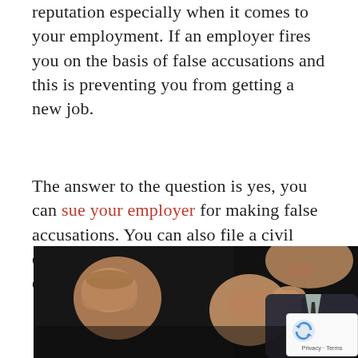reputation especially when it comes to your employment. If an employer fires you on the basis of false accusations and this is preventing you from getting a new job.
The answer to the question is yes, you can sue your employer for making false accusations. You can also file a civil defamation lawsuit against your ex-employer to harm your reputation.
[Figure (photo): A man in a suit gesturing with both hands, pointing finger toward camera, dark background]